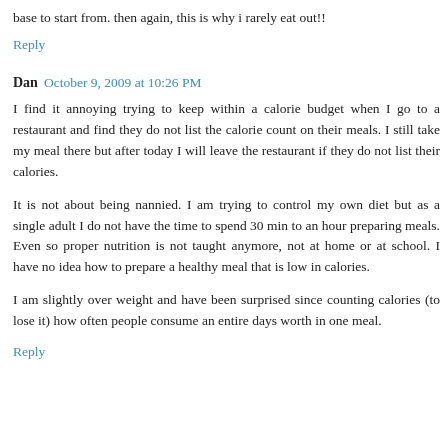base to start from. then again, this is why i rarely eat out!!
Reply
Dan  October 9, 2009 at 10:26 PM
I find it annoying trying to keep within a calorie budget when I go to a restaurant and find they do not list the calorie count on their meals. I still take my meal there but after today I will leave the restaurant if they do not list their calories.
It is not about being nannied. I am trying to control my own diet but as a single adult I do not have the time to spend 30 min to an hour preparing meals. Even so proper nutrition is not taught anymore, not at home or at school. I have no idea how to prepare a healthy meal that is low in calories.
I am slightly over weight and have been surprised since counting calories (to lose it) how often people consume an entire days worth in one meal.
Reply